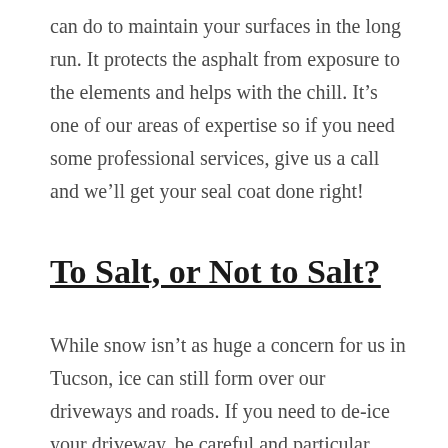can do to maintain your surfaces in the long run. It protects the asphalt from exposure to the elements and helps with the chill. It's one of our areas of expertise so if you need some professional services, give us a call and we'll get your seal coat done right!
To Salt, or Not to Salt?
While snow isn't as huge a concern for us in Tucson, ice can still form over our driveways and roads. If you need to de-ice your driveway, be careful and particular about what agents you use to get the job done! Salt and many chemical de-icers will damage the surface of your driveway,